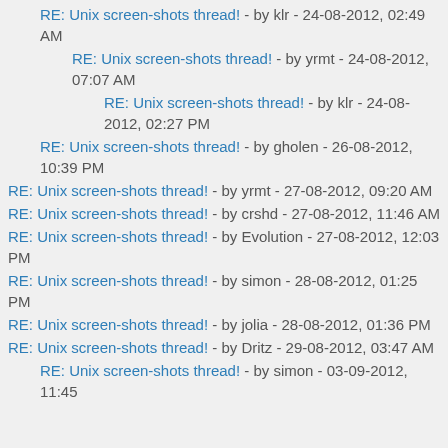RE: Unix screen-shots thread! - by klr - 24-08-2012, 02:49 AM
RE: Unix screen-shots thread! - by yrmt - 24-08-2012, 07:07 AM
RE: Unix screen-shots thread! - by klr - 24-08-2012, 02:27 PM
RE: Unix screen-shots thread! - by gholen - 26-08-2012, 10:39 PM
RE: Unix screen-shots thread! - by yrmt - 27-08-2012, 09:20 AM
RE: Unix screen-shots thread! - by crshd - 27-08-2012, 11:46 AM
RE: Unix screen-shots thread! - by Evolution - 27-08-2012, 12:03 PM
RE: Unix screen-shots thread! - by simon - 28-08-2012, 01:25 PM
RE: Unix screen-shots thread! - by jolia - 28-08-2012, 01:36 PM
RE: Unix screen-shots thread! - by Dritz - 29-08-2012, 03:47 AM
RE: Unix screen-shots thread! - by simon - 03-09-2012, 11:45